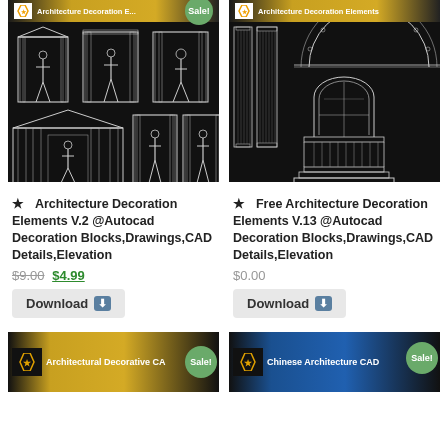[Figure (photo): CAD drawing of architectural decoration elements V.2 showing ornate doorways with statues, on black background, with Sale badge]
★  Architecture Decoration Elements V.2 @Autocad Decoration Blocks,Drawings,CAD Details,Elevation
$9.00  $4.99
Download
[Figure (photo): CAD drawing of architectural decoration elements V.13 showing columns and arched window with balustrade, on black background]
★  Free Architecture Decoration Elements V.13 @Autocad Decoration Blocks,Drawings,CAD Details,Elevation
$0.00
Download
[Figure (photo): CAD drawing partial view - Architectural Decorative CA... with Sale badge]
[Figure (photo): CAD drawing partial view - Chinese Architecture CAD... with Sale badge]